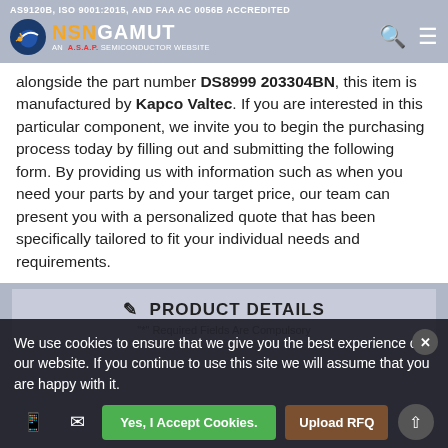AS9120B, ISO 9001:2015, AND FAA AC 0056B ACCREDITED
[Figure (logo): NSN Gamut logo - AN A.S.A.P Semiconductor Website with orange/white text and circular icon]
alongside the part number DS8999 203304BN, this item is manufactured by Kapco Valtec. If you are interested in this particular component, we invite you to begin the purchasing process today by filling out and submitting the following form. By providing us with information such as when you need your parts by and your target price, our team can present you with a personalized quote that has been specifically tailored to fit your individual needs and requirements.
PRODUCT DETAILS
"*" Required Fields Are Compulsory
We use cookies to ensure that we give you the best experience on our website. If you continue to use this site we will assume that you are happy with it.